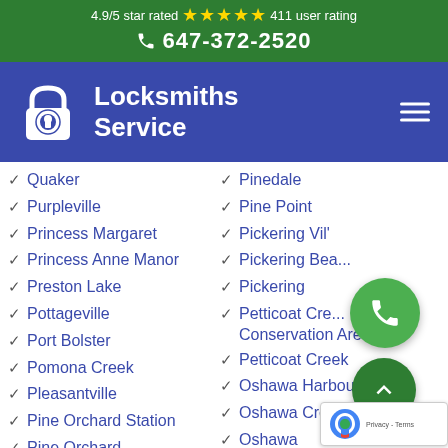4.9/5 star rated ⭐⭐⭐⭐⭐ 411 user rating
📞 647-372-2520
[Figure (logo): Locksmiths Service logo with padlock icon and brand name]
Quaker
Purpleville
Princess Margaret
Princess Anne Manor
Preston Lake
Pottageville
Port Bolster
Pomona Creek
Pleasantville
Pine Orchard Station
Pine Orchard
Pinedale
Pine Point
Pickering Vil'
Pickering Bea...
Pickering
Petticoat Cre... Conservation Area
Petticoat Creek
Oshawa Harbour
Oshawa Creek
Oshawa